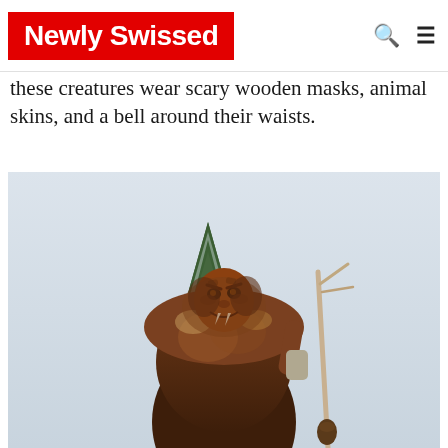Newly Swissed
these creatures wear scary wooden masks, animal skins, and a bell around their waists.
[Figure (photo): A person dressed in a Krampus or Swiss winter creature costume, wearing a brown furry animal skin covering the entire body and a scary carved wooden mask with fangs, holding a wooden staff or branch in a snowy outdoor setting with a snow-covered evergreen tree in the background.]